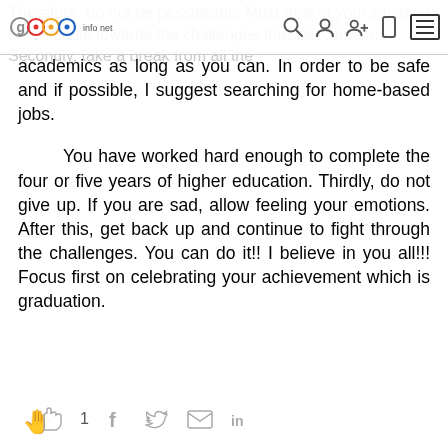good info net — navigation header with logo and icons
academics as long as you can. In order to be safe and if possible, I suggest searching for home-based jobs.
You have worked hard enough to complete the four or five years of higher education. Thirdly, do not give up. If you are sad, allow feeling your emotions. After this, get back up and continue to fight through the challenges. You can do it!! I believe in you all!!! Focus first on celebrating your achievement which is graduation.
Social share bar: 1 like, Facebook, Twitter, Email, LinkedIn